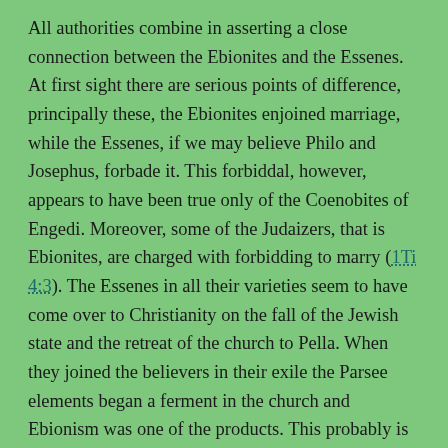All authorities combine in asserting a close connection between the Ebionites and the Essenes. At first sight there are serious points of difference, principally these, the Ebionites enjoined marriage, while the Essenes, if we may believe Philo and Josephus, forbade it. This forbiddal, however, appears to have been true only of the Coenobites of Engedi. Moreover, some of the Judaizers, that is Ebionites, are charged with forbidding to marry (1Ti 4:3). The Essenes in all their varieties seem to have come over to Christianity on the fall of the Jewish state and the retreat of the church to Pella. When they joined the believers in their exile the Parsee elements began a ferment in the church and Ebionism was one of the products. This probably is the meaning of the statement that Ebion began to teach his doctrines at Pella. If we may judge from the statements of Scripture and from the earliest of the noncanonical